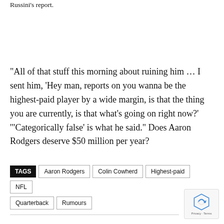Russini's report.
“All of that stuff this morning about ruining him … I sent him, ‘Hey man, reports on you wanna be the highest-paid player by a wide margin, is that the thing you are currently, is that what’s going on right now?’ ‘Categorically false’ is what he said.” Does Aaron Rodgers deserve $50 million per year?
TAGS: Aaron Rodgers, Colin Cowherd, Highest-paid, NFL, Quarterback, Rumours